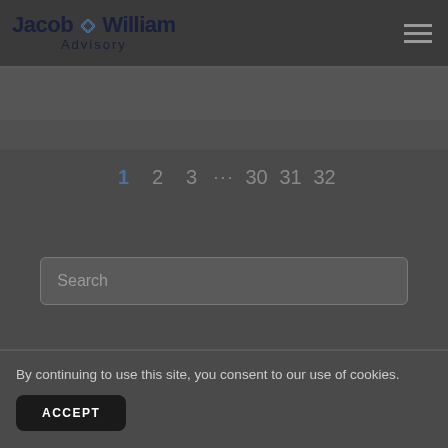Jacob William Advisory
1 2 3 ... 30 31 32
Search
By continuing to use this site, you consent to our use of cookies.
ACCEPT